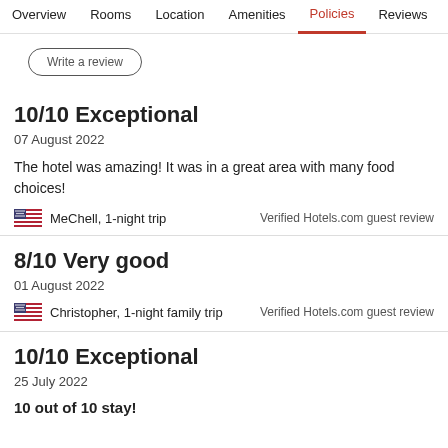Overview  Rooms  Location  Amenities  Policies  Reviews
Write a review
10/10 Exceptional
07 August 2022
The hotel was amazing! It was in a great area with many food choices!
MeChell, 1-night trip
Verified Hotels.com guest review
8/10 Very good
01 August 2022
Christopher, 1-night family trip
Verified Hotels.com guest review
10/10 Exceptional
25 July 2022
10 out of 10 stay!